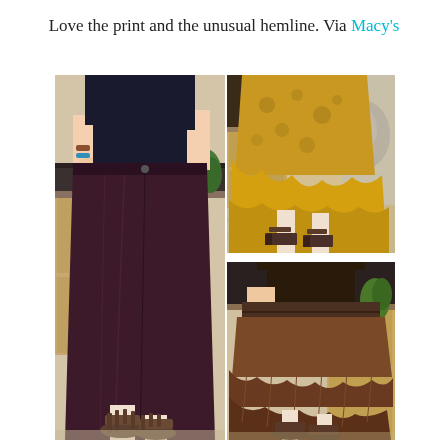Love the print and the unusual hemline. Via Macy's
[Figure (photo): Three photos of women wearing skirts with unusual hemlines. Left: woman in dark purple/maroon midi skirt with wedge sandals in a kitchen setting. Top right: woman in golden/yellow floral layered skirt with wedge heels outdoors. Bottom right: woman in brown ruffled asymmetric skirt with belt in a kitchen setting.]